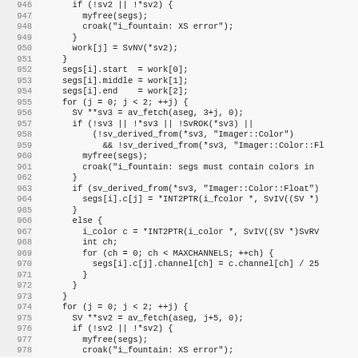[Figure (screenshot): Source code listing in monospace font showing C/Perl XS code lines 946-978, with line numbers on the left and code on the right. Background is light gray.]